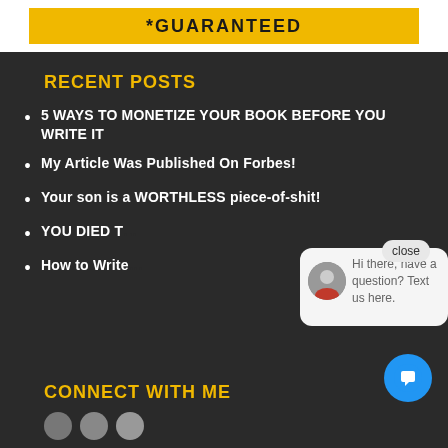*GUARANTEED
RECENT POSTS
5 WAYS TO MONETIZE YOUR BOOK BEFORE YOU WRITE IT
My Article Was Published On Forbes!
Your son is a WORTHLESS piece-of-shit!
YOU DIED T...
How to Write...
[Figure (screenshot): Chat popup with close button, avatar of a woman, and text 'Hi there, have a question? Text us here.' and blue chat bubble button]
CONNECT WITH ME